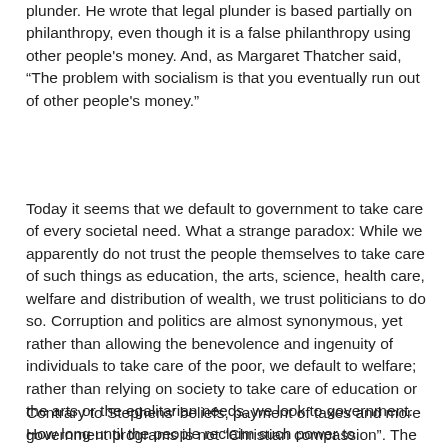plunder. He wrote that legal plunder is based partially on philanthropy, even though it is a false philanthropy using other people's money. And, as Margaret Thatcher said, “The problem with socialism is that you eventually run out of other people's money.”
Today it seems that we default to government to take care of every societal need. What a strange paradox: While we apparently do not trust the people themselves to take care of such things as education, the arts, science, health care, welfare and distribution of wealth, we trust politicians to do so. Corruption and politics are almost synonymous, yet rather than allowing the benevolence and ingenuity of individuals to take care of the poor, we default to welfare; rather than relying on society to take care of education or the arts or the egalitarian needs, we look to government. How long until the people reclaim such power to themselves, and let it be known that they are better able themselves to take care of such things?
Contrary to Stephens’ beliefs, payment of taxes and more government programs is not “Christian compassion”. The